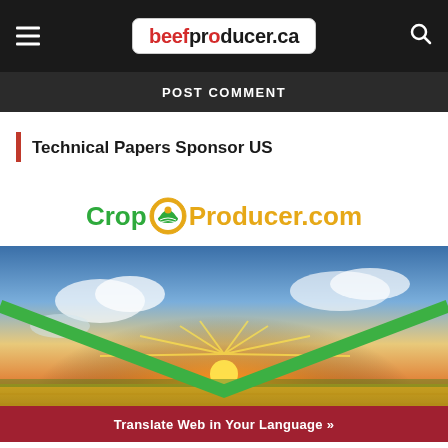beefproducer.ca
POST COMMENT
Technical Papers Sponsor US
[Figure (logo): CropProducer.com logo with green and gold text and circular crop field icon]
[Figure (photo): Agricultural field with golden wheat under a dramatic sunset sky with green chevron graphic overlay]
Translate Web in Your Language »